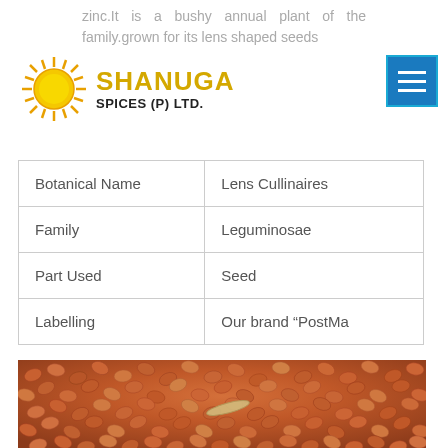zinc.It is a bushy annual plant of the family.grown for its lens shaped seeds
[Figure (logo): Shanuga Spices (P) Ltd. logo with sun icon]
| Botanical Name | Lens Cullinaires |
| Family | Leguminosae |
| Part Used | Seed |
| Labelling | Our brand "PostMa |
[Figure (photo): Close-up photo of orange/red lentil seeds]